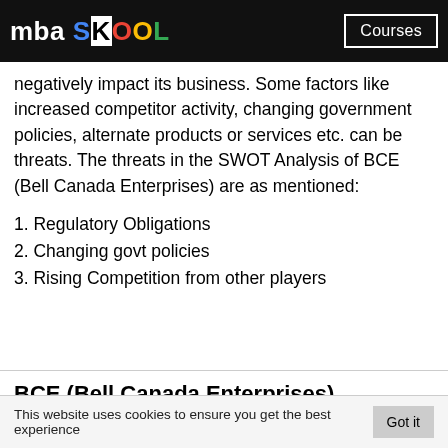mba SKOOL | Courses
negatively impact its business. Some factors like increased competitor activity, changing government policies, alternate products or services etc. can be threats. The threats in the SWOT Analysis of BCE (Bell Canada Enterprises) are as mentioned:
1. Regulatory Obligations
2. Changing govt policies
3. Rising Competition from other players
BCE (Bell Canada Enterprises) Competitors
This website uses cookies to ensure you get the best experience